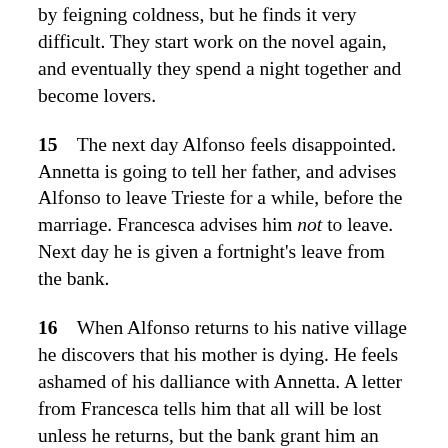Francesca advises Alfonso to win Annetta by feigning coldness, but he finds it very difficult. They start work on the novel again, and eventually they spend a night together and become lovers.
15  The next day Alfonso feels disappointed. Annetta is going to tell her father, and advises Alfonso to leave Trieste for a while, before the marriage. Francesca advises him not to leave. Next day he is given a fortnight's leave from the bank.
16  When Alfonso returns to his native village he discovers that his mother is dying. He feels ashamed of his dalliance with Annetta. A letter from Francesca tells him that all will be lost unless he returns, but the bank grant him an additional two weeks' leave. He nurses his mother through to her